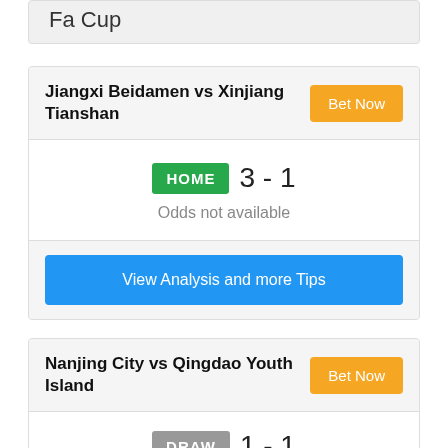Fa Cup
Jiangxi Beidamen vs Xinjiang Tianshan
HOME 3 - 1
Odds not available
View Analysis and more Tips
Nanjing City vs Qingdao Youth Island
DRAW 1 - 1